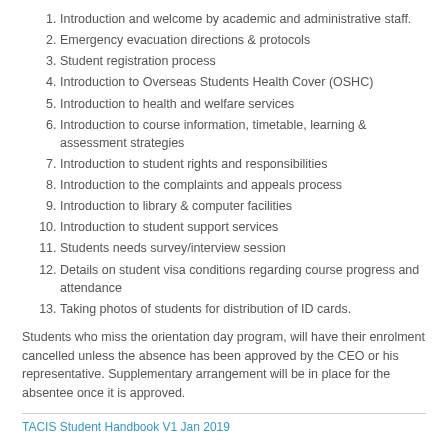1. Introduction and welcome by academic and administrative staff.
2. Emergency evacuation directions & protocols
3. Student registration process
4. Introduction to Overseas Students Health Cover (OSHC)
5. Introduction to health and welfare services
6. Introduction to course information, timetable, learning & assessment strategies
7. Introduction to student rights and responsibilities
8. Introduction to the complaints and appeals process
9. Introduction to library & computer facilities
10. Introduction to student support services
11. Students needs survey/interview session
12. Details on student visa conditions regarding course progress and attendance
13. Taking photos of students for distribution of ID cards.
Students who miss the orientation day program, will have their enrolment cancelled unless the absence has been approved by the CEO or his representative. Supplementary arrangement will be in place for the absentee once it is approved.
TACIS Student Handbook V1 Jan 2019